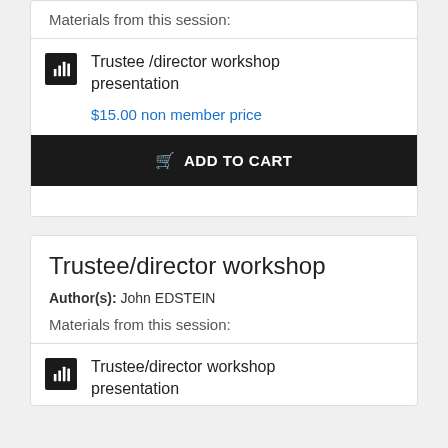Materials from this session:
Trustee /director workshop presentation
$15.00 non member price
ADD TO CART
Trustee/director workshop
Author(s):  John EDSTEIN
Materials from this session:
Trustee/director workshop presentation